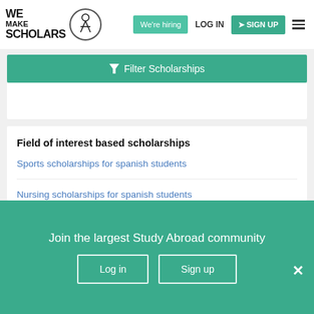[Figure (logo): We Make Scholars logo with circular icon and stick figure]
We're hiring | LOG IN | SIGN UP
Filter Scholarships
Field of interest based scholarships
Sports scholarships for spanish students
Nursing scholarships for spanish students
Civil Engineering scholarships for spanish students
Join the largest Study Abroad community
Log in    Sign up